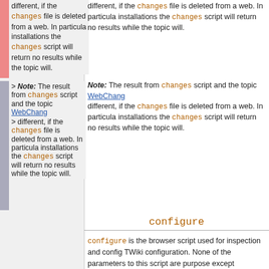different, if the changes file is deleted from a web. In particular installations the changes script will return no results while the topic will.
Note: The result from changes script and the topic WebChang different, if the changes file is deleted from a web. In particular installations the changes script will return no results while the topic will.
configure
configure is the browser script used for inspection and config TWiki configuration. None of the parameters to this script are purpose except configure. See configure.
Line: 73 to 73
Form field values are passed in parameters named 'field' - fo have a field Status the parameter name is Status.
The first sequence of ten or more x characters in the to converted on save to a number such that the resulting unique in the target web.
Changed:
< NOTE: most skins support the definition of EDIT_SKIN, which